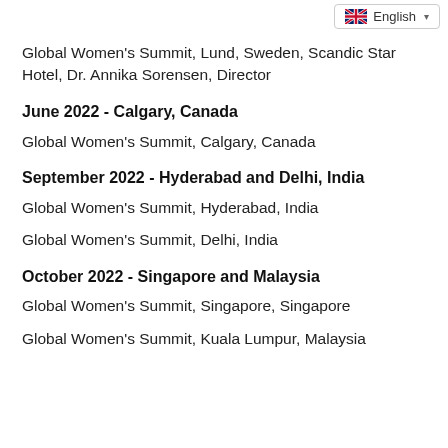[Figure (screenshot): Language selector dropdown showing UK flag and 'English' text with dropdown arrow]
Global Women's Summit, Lund, Sweden, Scandic Star Hotel, Dr. Annika Sorensen, Director
June 2022 - Calgary, Canada
Global Women's Summit, Calgary, Canada
September 2022 - Hyderabad and Delhi, India
Global Women's Summit, Hyderabad, India
Global Women's Summit, Delhi, India
October 2022 - Singapore and Malaysia
Global Women's Summit, Singapore, Singapore
Global Women's Summit, Kuala Lumpur, Malaysia